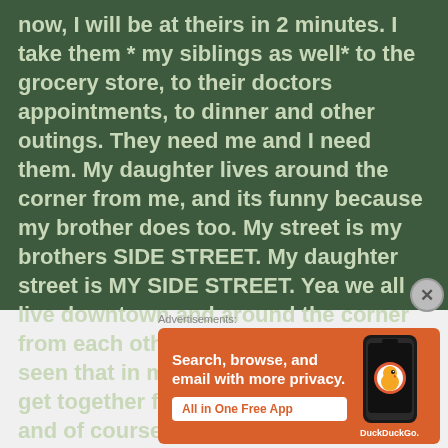now, I will be at theirs in 2 minutes. I take them * my siblings as well* to the grocery store, to their doctors appointments, to dinner and other outings. They need me and I need them. My daughter lives around the corner from me, and its funny because my brother does too. My street is my brothers SIDE STREET. My daughter street is MY SIDE STREET. Yea we all live downtown and around the corner from each other. Wow God... never seen that in my forecast. We always get together for dinner and birthdays and of course just because days
Advertisements:
[Figure (infographic): DuckDuckGo advertisement banner with orange background. Left side shows text 'Search, browse, and email with more privacy.' with a white button 'All in One Free App'. Right side shows a smartphone with DuckDuckGo logo and the text 'DuckDuckGo.' below it.]